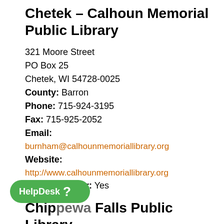Chetek – Calhoun Memorial Public Library
321 Moore Street
PO Box 25
Chetek, WI 54728-0025
County: Barron
Phone: 715-924-3195
Fax: 715-925-2052
Email:
burnham@calhounmemoriallibrary.org
Website:
http://www.calhounmemoriallibrary.org
MORE Member: Yes
Chippewa Falls Public Library
tral Street
Chippewa Falls, WI 54729